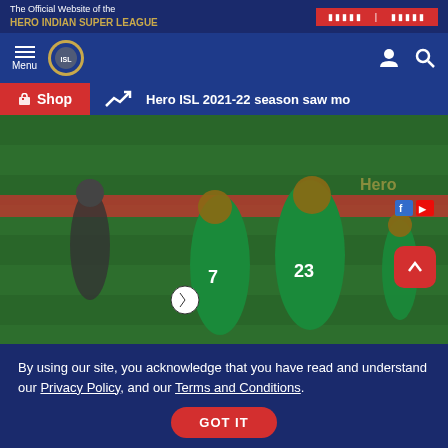The Official Website of the HERO INDIAN SUPER LEAGUE
[Figure (screenshot): ISL website navigation bar with menu icon, Hero ISL logo, user and search icons]
Shop | Hero ISL 2021-22 season saw mo
[Figure (photo): Football players in green jerseys numbered 7 and 23 celebrating on a pitch]
The right-winger delivered when it mattered the most by scoring an
By using our site, you acknowledge that you have read and understand our Privacy Policy, and our Terms and Conditions.
GOT IT